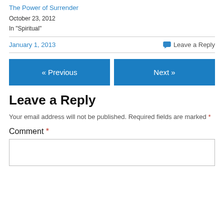The Power of Surrender
October 23, 2012
In "Spiritual"
January 1, 2013
Leave a Reply
« Previous
Next »
Leave a Reply
Your email address will not be published. Required fields are marked *
Comment *